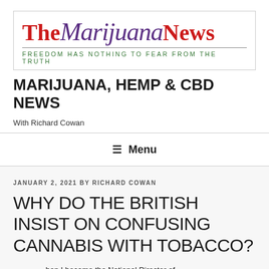[Figure (logo): The Marijuana News logo with tagline: FREEDOM HAS NOTHING TO FEAR FROM THE TRUTH]
MARIJUANA, HEMP & CBD NEWS
With Richard Cowan
≡ Menu
JANUARY 2, 2021 BY RICHARD COWAN
WHY DO THE BRITISH INSIST ON CONFUSING CANNABIS WITH TOBACCO?
hen I became the National Director of